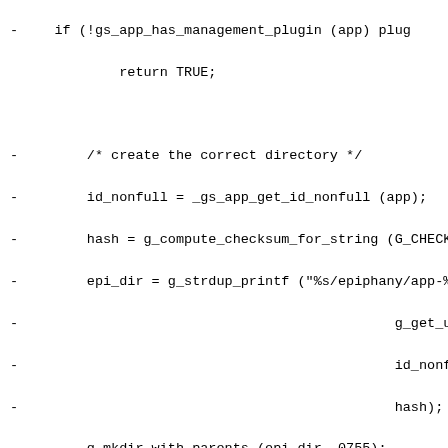[Figure (screenshot): Source code diff snippet showing C code for creating a directory, symlinking an icon, and error handling. Lines prefixed with '-' indicating removed lines in a diff.]